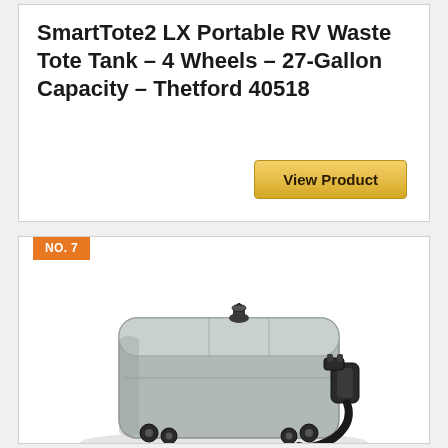SmartTote2 LX Portable RV Waste Tote Tank – 4 Wheels – 27-Gallon Capacity – Thetford 40518
[Figure (other): View Product button — golden/yellow rounded rectangle button with bold text]
NO. 7
[Figure (photo): Photo of a grey SmartTote2 LX portable RV waste tote tank with 4 wheels, black hose/connector attachment on right side, and a small black cap on top. Tank is rectangular/rounded with panel lines visible.]